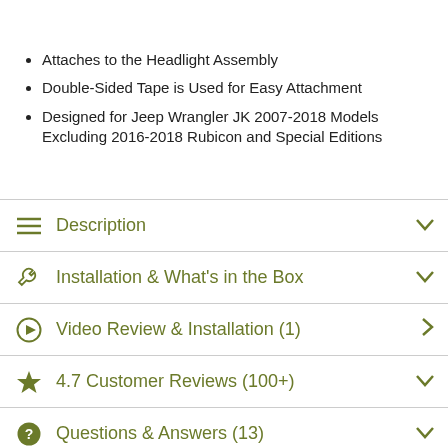Attaches to the Headlight Assembly
Double-Sided Tape is Used for Easy Attachment
Designed for Jeep Wrangler JK 2007-2018 Models Excluding 2016-2018 Rubicon and Special Editions
Description
Installation & What's in the Box
Video Review & Installation (1)
4.7 Customer Reviews (100+)
Questions & Answers (13)
Will it fit my Wrangler?
Share